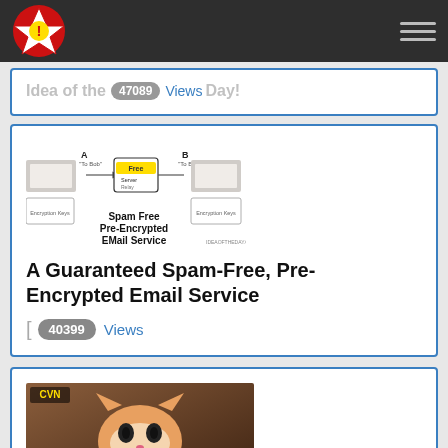Idea of the Day
Idea of the Day! [ 47089 Views
[Figure (infographic): Spam Free Pre-Encrypted EMail Service diagram showing encryption between two parties via a server]
A Guaranteed Spam-Free, Pre-Encrypted Email Service
[ 40399 Views
[Figure (photo): Cat Video Network thumbnail showing a cat with CVN logo and text 'Cat Video Network - You Know You Love Them!']
Cat Video Network